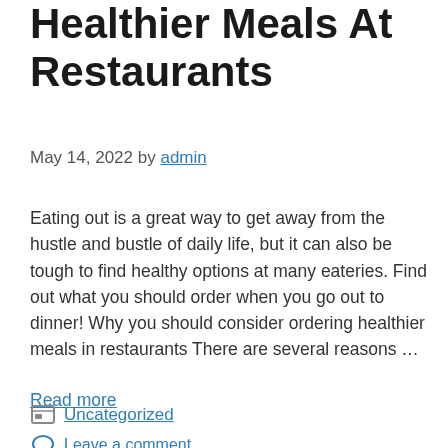Healthier Meals At Restaurants
May 14, 2022 by admin
Eating out is a great way to get away from the hustle and bustle of daily life, but it can also be tough to find healthy options at many eateries. Find out what you should order when you go out to dinner! Why you should consider ordering healthier meals in restaurants There are several reasons …
Read more
Uncategorized
Leave a comment